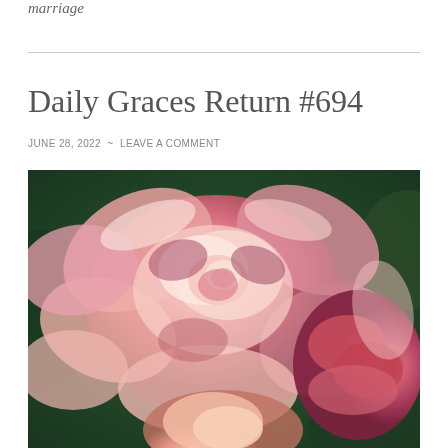marriage
Daily Graces Return #694
JUNE 28, 2022  ~  LEAVE A COMMENT
[Figure (photo): Close-up photograph of pink roses with layered petals in shades of pink, peach, and deep rose against a green background]